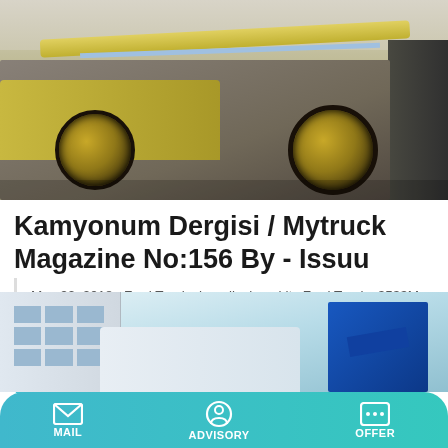[Figure (photo): Yellow construction truck/mixer vehicle with large wheels, photographed outdoors on a light-colored surface.]
Kamyonum Dergisi / Mytruck Magazine No:156 By - Issuu
May 22, 2018 · Ford Trucks has displayed its Ford Trucks 3533M new 6x4 lightweight Mixer, 4142P Pump as well as its 4142XD and 1842T heavy construction tractor truck models at ...
Learn More
[Figure (photo): Partial view of a white truck with blue machinery/equipment, photographed against a light blue sky background, partially cropped at page bottom.]
MAIL   ADVISORY   OFFER